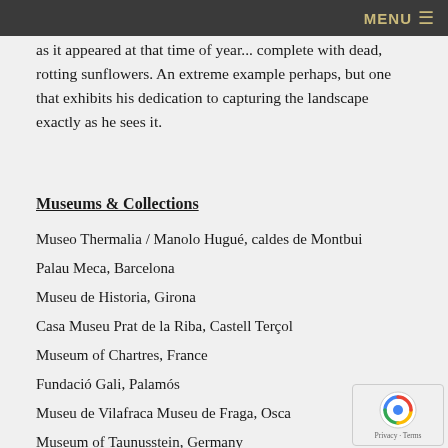MENU
as it appeared at that time of year... complete with dead, rotting sunflowers. An extreme example perhaps, but one that exhibits his dedication to capturing the landscape exactly as he sees it.
Museums & Collections
Museo Thermalia / Manolo Hugué, caldes de Montbui
Palau Meca, Barcelona
Museu de Historia, Girona
Casa Museu Prat de la Riba, Castell Terçol
Museum of Chartres, France
Fundació Gali, Palamós
Museu de Vilafraca Museu de Fraga, Osca
Museum of Taunusstein, Germany
Museum Antibes, France
Fundado Sant Miquel de Cuixart, France